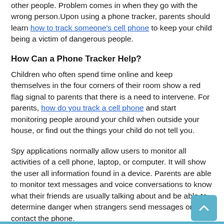other people. Problem comes in when they go with the wrong person.Upon using a phone tracker, parents should learn how to track someone's cell phone to keep your child being a victim of dangerous people.
How Can a Phone Tracker Help?
Children who often spend time online and keep themselves in the four corners of their room show a red flag signal to parents that there is a need to intervene. For parents, how do you track a cell phone and start monitoring people around your child when outside your house, or find out the things your child do not tell you.
Spy applications normally allow users to monitor all activities of a cell phone, laptop, or computer. It will show the user all information found in a device. Parents are able to monitor text messages and voice conversations to know what their friends are usually talking about and be able to determine danger when strangers send messages or try to contact the phone.